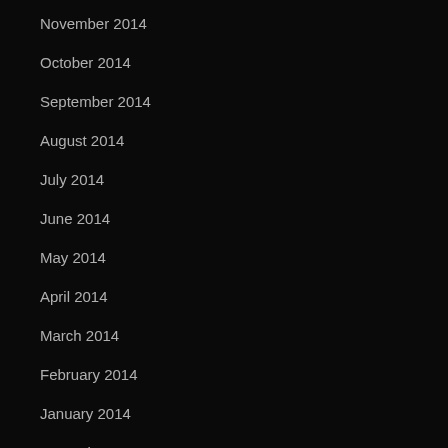November 2014
October 2014
September 2014
August 2014
July 2014
June 2014
May 2014
April 2014
March 2014
February 2014
January 2014
December 2013
October 2013